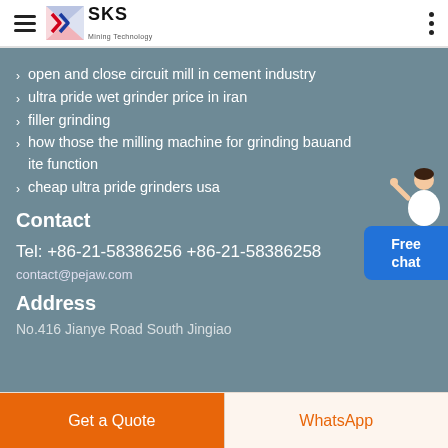SKS Mining Technology
open and close circuit mill in cement industry
ultra pride wet grinder price in iran
filler grinding
how those the milling machine for grinding bauand ite function
cheap ultra pride grinders usa
Contact
Tel: +86-21-58386256 +86-21-58386258
contact@pejaw.com
Address
No.416 Jianye Road South Jingiao